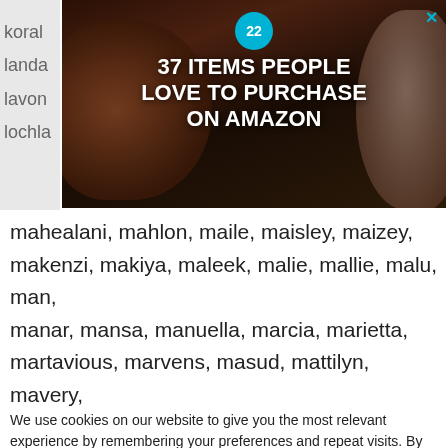[Figure (advertisement): Amazon ad banner: '37 ITEMS PEOPLE LOVE TO PURCHASE ON AMAZON' with badge showing '22' on teal circle, dark background with kitchen items, X close button]
korah
landa
lavon
locha
mahealani, mahlon, maile, maisley, maizey, makenzi, makiya, maleek, malie, mallie, malu, man, manar, mansa, manuella, marcia, marietta, martavious, marvens, masud, mattilyn, mavery, mckinley, md, melrose, mikko, mills, mohamedamin, mohsen, muad, muadh
We use cookies on our website to give you the most relevant experience by remembering your preferences and repeat visits. By clicking “Accept”, you consent to the use of ALL the cookies.
Do no
Coo
[Figure (advertisement): Amazon ad: '37 GENIUS AMAZON PRODUCTS THAT CAN BE USED BY ANYONE' with teal badge showing 22, colorful scrunchies on left, Oral-B Vitality toothbrush on right]